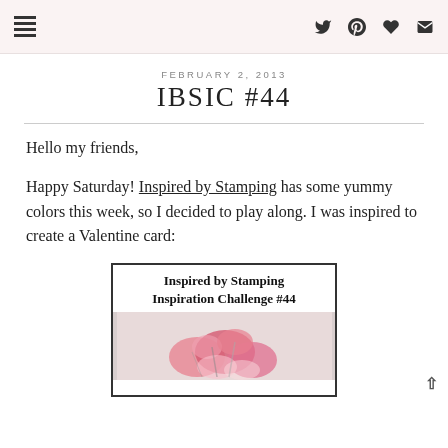navigation menu icons: twitter, pinterest, heart, mail
FEBRUARY 2, 2013
IBSIC #44
Hello my friends,
Happy Saturday! Inspired by Stamping has some yummy colors this week, so I decided to play along.  I was inspired to create a Valentine card:
[Figure (illustration): Challenge card image with text 'Inspired by Stamping Inspiration Challenge #44' and a photo of pink roses below the title text.]